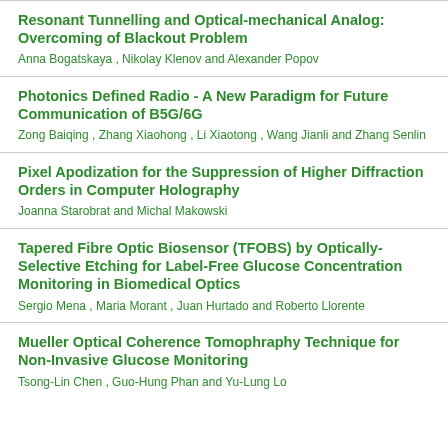Resonant Tunnelling and Optical-mechanical Analog: Overcoming of Blackout Problem
Anna Bogatskaya , Nikolay Klenov and Alexander Popov
Photonics Defined Radio - A New Paradigm for Future Communication of B5G/6G
Zong Baiqing , Zhang Xiaohong , Li Xiaotong , Wang Jianli and Zhang Senlin
Pixel Apodization for the Suppression of Higher Diffraction Orders in Computer Holography
Joanna Starobrat and Michal Makowski
Tapered Fibre Optic Biosensor (TFOBS) by Optically-Selective Etching for Label-Free Glucose Concentration Monitoring in Biomedical Optics
Sergio Mena , Maria Morant , Juan Hurtado and Roberto Llorente
Mueller Optical Coherence Tomophraphy Technique for Non-Invasive Glucose Monitoring
Tsong-Lin Chen , Guo-Hung Phan and Yu-Lung Lo